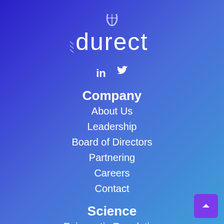[Figure (logo): Durect company logo with stylized DNA/capsule icon above the word 'durect' in white text]
in 🐦
Company
About Us
Leadership
Board of Directors
Partnering
Careers
Contact
Science
Epigenetic Regulation
Clinical Development